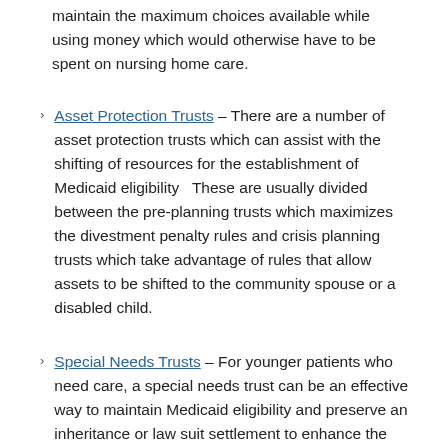maintain the maximum choices available while using money which would otherwise have to be spent on nursing home care.
Asset Protection Trusts – There are a number of asset protection trusts which can assist with the shifting of resources for the establishment of Medicaid eligibility   These are usually divided between the pre-planning trusts which maximizes the divestment penalty rules and crisis planning trusts which take advantage of rules that allow assets to be shifted to the community spouse or a disabled child.
Special Needs Trusts – For younger patients who need care, a special needs trust can be an effective way to maintain Medicaid eligibility and preserve an inheritance or law suit settlement to enhance the disabled